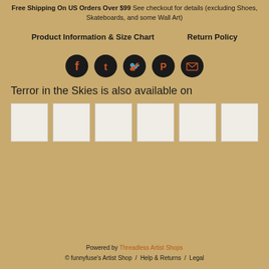Free Shipping On US Orders Over $99 See checkout for details (excluding Shoes, Skateboards, and some Wall Art)
Product Information & Size Chart    Return Policy
[Figure (infographic): Five social media icon circles: Facebook, Tumblr, Twitter, Pinterest, Email]
Terror in the Skies is also available on
[Figure (other): Six white product thumbnail image placeholders]
Powered by Threadless Artist Shops
© funnyfuse's Artist Shop / Help & Returns / Legal